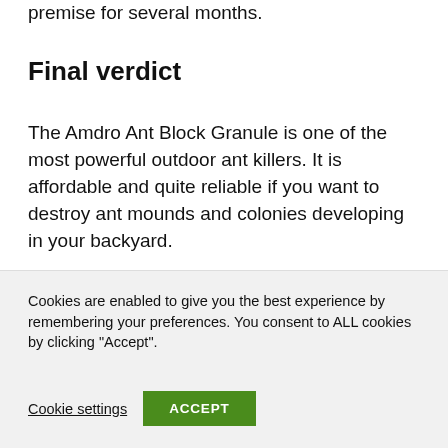premise for several months.
Final verdict
The Amdro Ant Block Granule is one of the most powerful outdoor ant killers. It is affordable and quite reliable if you want to destroy ant mounds and colonies developing in your backyard.
Cookies are enabled to give you the best experience by remembering your preferences. You consent to ALL cookies by clicking "Accept".
Cookie settings   ACCEPT